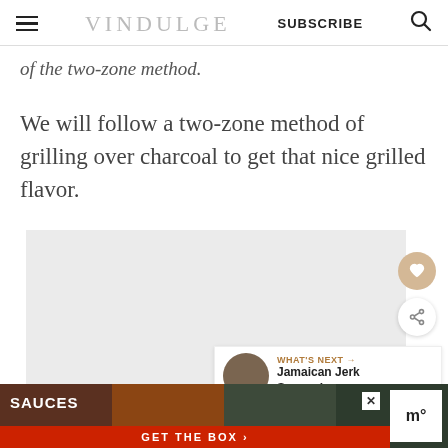VINDULGE | SUBSCRIBE
of the two-zone method.
We will follow a two-zone method of grilling over charcoal to get that nice grilled flavor.
[Figure (photo): Gray placeholder image area for a food/grilling photo]
WHAT'S NEXT → Jamaican Jerk Seasoning...
[Figure (infographic): Advertisement banner: SAUCES - GET THE BOX with food images]